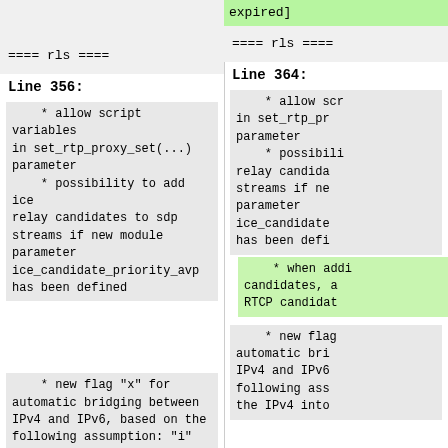expired]
==== rls ====
==== rls ====
Line 356:
Line 364:
* allow script variables
in set_rtp_proxy_set(...)
parameter
    * possibility to add ice
relay candidates to sdp
streams if new module
parameter
ice_candidate_priority_avp
has been defined
* allow scr
in set_rtp_pr
parameter
    * possibili
relay candida
streams if ne
parameter
ice_candidate
has been defi
* when addi
candidates, a
RTCP candidat
* new flag "x" for
automatic bridging between
IPv4 and IPv6, based on the
following assumption: "i" is
the IPv4 interface and "o"
* new flag
automatic bri
IPv4 and IPv6
following ass
the IPv4 into